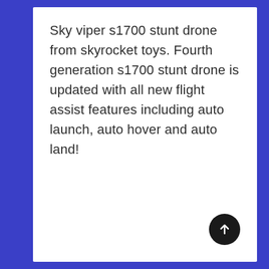Sky viper s1700 stunt drone from skyrocket toys. Fourth generation s1700 stunt drone is updated with all new flight assist features including auto launch, auto hover and auto land!